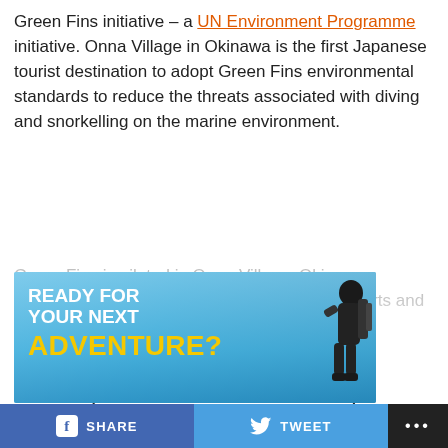Green Fins initiative – a UN Environment Programme initiative. Onna Village in Okinawa is the first Japanese tourist destination to adopt Green Fins environmental standards to reduce the threats associated with diving and snorkelling on the marine environment.
Green Fins is piloted in Onna Village, Okinawa prefecture, an area renowned for its marine sports and has been [faded/truncated]
CONTINUE READING
[Figure (illustration): Advertisement banner with sky blue background showing a diver/adventure person silhouette. Text reads 'READY FOR YOUR NEXT ADVENTURE?' in white and yellow uppercase letters.]
SHARE  TWEET  ...